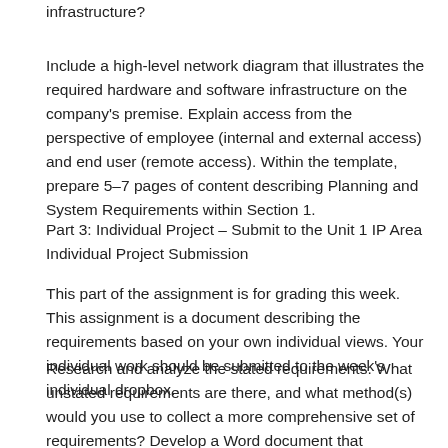infrastructure?
Include a high-level network diagram that illustrates the required hardware and software infrastructure on the company's premise. Explain access from the perspective of employee (internal and external access) and end user (remote access). Within the template, prepare 5–7 pages of content describing Planning and System Requirements within Section 1.
Part 3: Individual Project – Submit to the Unit 1 IP Area Individual Project Submission
This part of the assignment is for grading this week. This assignment is a document describing the requirements based on your own individual views. Your individual work should be submitted to the week's individual dropbox.
Research and analyze the stated requirements. What unstated requirements are there, and what method(s) would you use to collect a more comprehensive set of requirements? Develop a Word document that describes all of the requirements and explains